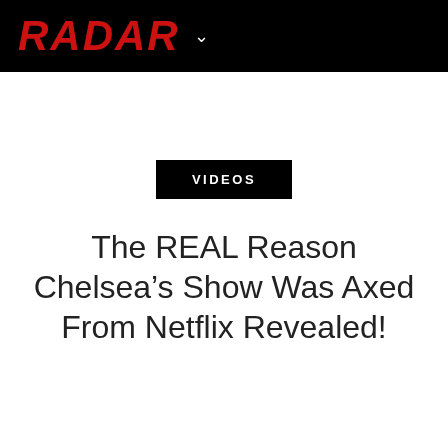RADAR
VIDEOS
The REAL Reason Chelsea’s Show Was Axed From Netflix Revealed!